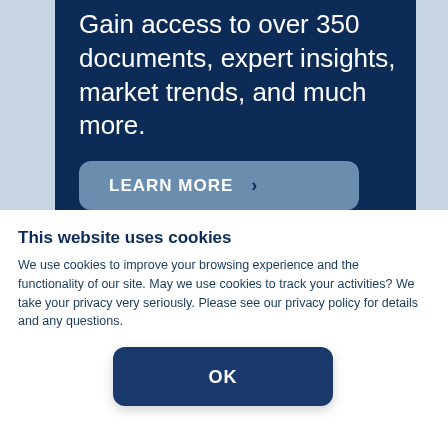Gain access to over 350 documents, expert insights, market trends, and much more.
LEARN MORE >
This website uses cookies
We use cookies to improve your browsing experience and the functionality of our site.  May we use cookies to track your activities?  We take your privacy very seriously. Please see our privacy policy for details and any questions.
OK